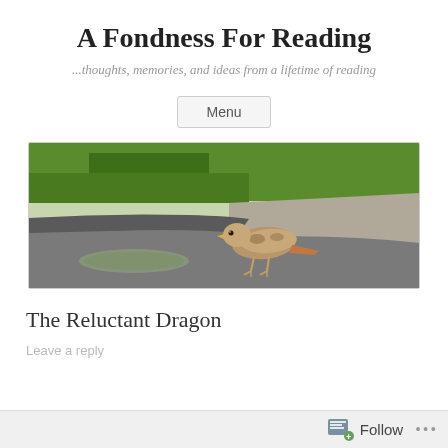A Fondness For Reading
...thoughts, memories, and ideas from a lifetime of reading
Menu
[Figure (photo): A hawk or similar bird of prey standing on a wet asphalt road near a puddle, with green grass visible in the background.]
The Reluctant Dragon
Leave a reply
Follow ...